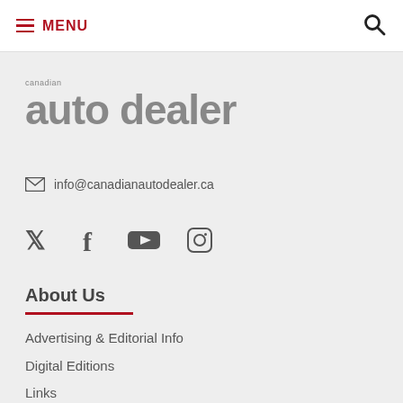MENU
[Figure (logo): Canadian auto dealer magazine logo — 'canadian' in small text above large bold grey 'auto dealer']
info@canadianautodealer.ca
[Figure (infographic): Social media icons: Twitter, Facebook, YouTube, Instagram]
About Us
Advertising & Editorial Info
Digital Editions
Links
Careers